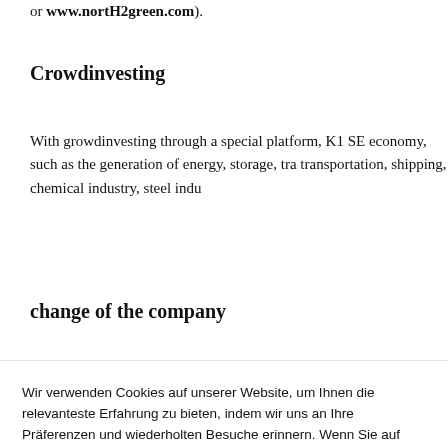or www.nortH2green.com).
Crowdinvesting
With growdinvesting through a special platform, K1 SE economy, such as the generation of energy, storage, tra transportation, shipping, chemical industry, steel indu
change of the company
Wir verwenden Cookies auf unserer Website, um Ihnen die relevanteste Erfahrung zu bieten, indem wir uns an Ihre Präferenzen und wiederholten Besuche erinnern. Wenn Sie auf "Akzeptieren" klicken, stimmen Sie der Verwendung ALLER Cookies zu.
Einstellungen
Akzeptieren